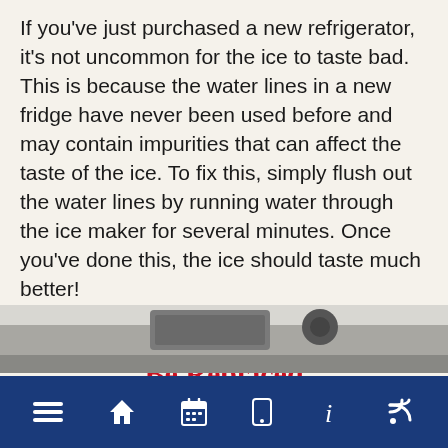If you've just purchased a new refrigerator, it's not uncommon for the ice to taste bad. This is because the water lines in a new fridge have never been used before and may contain impurities that can affect the taste of the ice. To fix this, simply flush out the water lines by running water through the ice maker for several minutes. Once you've done this, the ice should taste much better!
The Water Filter Needs To Be Replaced
If your refrigerator has a water filter, it's important to replace it every six months.
[Figure (photo): Partial photo of refrigerator interior, cropped at bottom of page]
Navigation bar with home, calendar, phone, info, and RSS feed icons